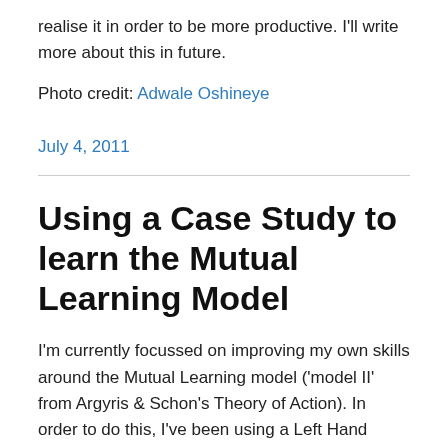realise it in order to be more productive. I'll write more about this in future.
Photo credit: Adwale Oshineye
July 4, 2011
Using a Case Study to learn the Mutual Learning Model
I'm currently focussed on improving my own skills around the Mutual Learning model ('model II' from Argyris & Schon's Theory of Action). In order to do this, I've been using a Left Hand Right Hand Case Study approach, one of the key learning tools. In the interest of being open and sharing my experience with others, I wanted to highlight